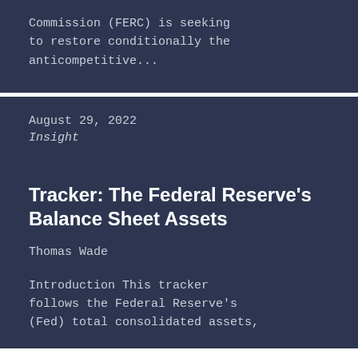Commission (FERC) is seeking to restore conditionally the anticompetitive...
August 29, 2022
Insight
Tracker: The Federal Reserve's Balance Sheet Assets
Thomas Wade
Introduction This tracker follows the Federal Reserve's (Fed) total consolidated assets,